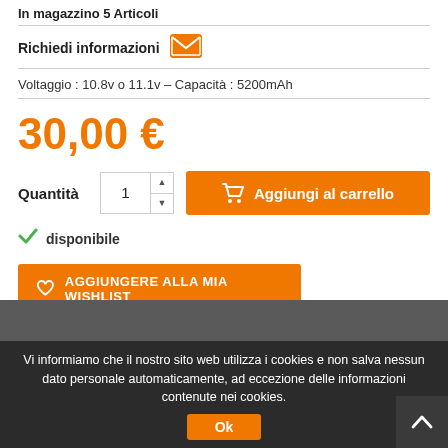In magazzino 5 Articoli
Richiedi informazioni
Voltaggio : 10.8v o 11.1v – Capacità : 5200mAh
30,00 €
Quantità 1
Aggiungi al carrello
disponibile
AGGIUNGERE ALLA MIA WISHLIST
Condividi
Vi informiamo che il nostro sito web utilizza i cookies e non salva nessun dato personale automaticamente, ad eccezione delle informazioni contenute nei cookies.
Ok